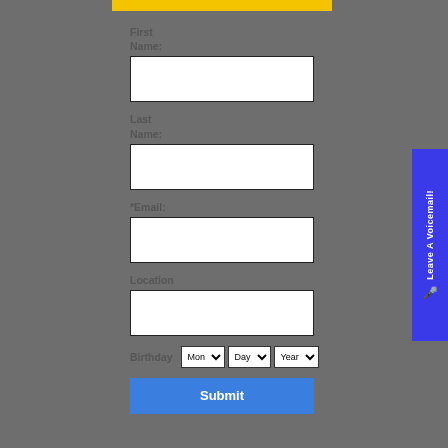[Figure (screenshot): Yellow header bar at top of white form panel]
First Name:
[Figure (other): Text input field for First Name]
Last Name:
[Figure (other): Text input field for Last Name]
*Email:
[Figure (other): Text input field for Email]
Location
[Figure (other): Text input field for Location]
Birthday
[Figure (other): Birthday dropdowns: Month, Day, Year]
[Figure (other): Submit button]
[Figure (other): Leave A Voicemail tab on the right side]